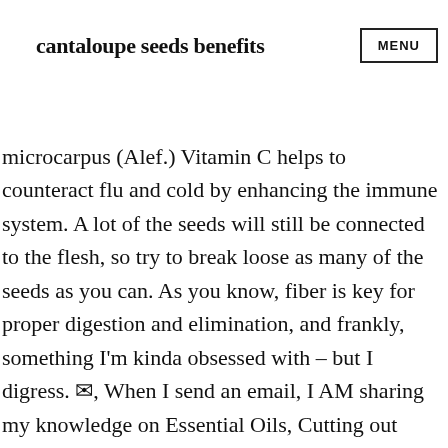cantaloupe seeds benefits  MENU
microcarpus (Alef.) Vitamin C helps to counteract flu and cold by enhancing the immune system. A lot of the seeds will still be connected to the flesh, so try to break loose as many of the seeds as you can. As you know, fiber is key for proper digestion and elimination, and frankly, something I’m kinda obsessed with – but I digress. ✉, When I send an email, I AM sharing my knowledge on Essential Oils, Cutting out Sugar, Detoxing, DIY, and so much more to help you on your wellness journey. grid. It originated in France, and is the sweetest of all melons. Thank You! Besides the aroma and pleasant taste of melon, there are many benefits in terms of health. 1. To start saving melon seeds, cut open the fruit lengthwise and scoop